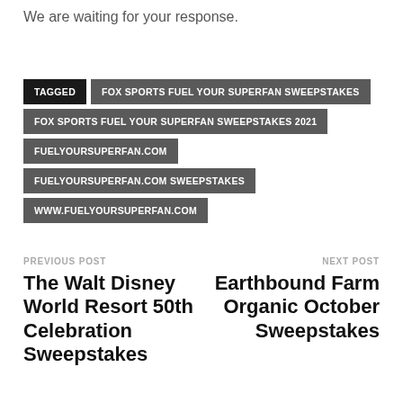We are waiting for your response.
TAGGED
FOX SPORTS FUEL YOUR SUPERFAN SWEEPSTAKES
FOX SPORTS FUEL YOUR SUPERFAN SWEEPSTAKES 2021
FUELYOURSUPERFAN.COM
FUELYOURSUPERFAN.COM SWEEPSTAKES
WWW.FUELYOURSUPERFAN.COM
PREVIOUS POST
The Walt Disney World Resort 50th Celebration Sweepstakes
NEXT POST
Earthbound Farm Organic October Sweepstakes